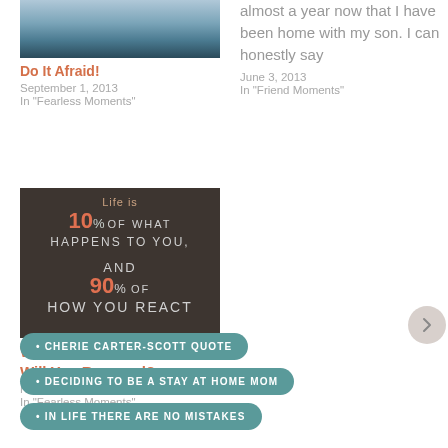[Figure (photo): Ocean waves crashing, top portion visible]
Do It Afraid!
September 1, 2013
In "Fearless Moments"
almost a year now that I have been home with my son. I can honestly say
June 3, 2013
In "Friend Moments"
[Figure (photo): Dark brown background with motivational quote text about 10% of what happens to you and 90% of how you react]
When Life Happens, How Will You Respond?
November 8, 2013
In "Fearless Moments"
CHERIE CARTER-SCOTT QUOTE
DECIDING TO BE A STAY AT HOME MOM
IN LIFE THERE ARE NO MISTAKES